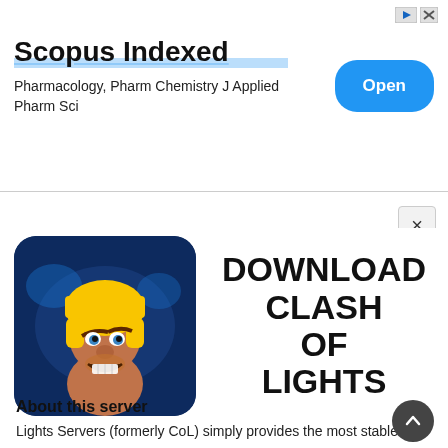[Figure (infographic): Advertisement banner for Scopus Indexed journal with blue play and X icons, Open button in blue pill shape]
Scopus Indexed
Pharmacology, Pharm Chemistry J Applied Pharm Sci
[Figure (infographic): Advertisement for Clash of Lights game showing a warrior character with yellow helmet on blue background with text DOWNLOAD CLASH OF LIGHTS]
About this server
Lights Servers (formerly CoL) simply provides the most stable